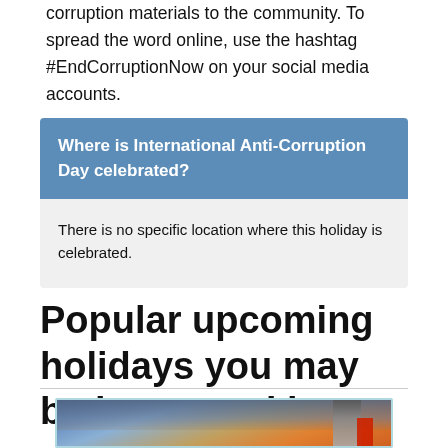corruption materials to the community. To spread the word online, use the hashtag #EndCorruptionNow on your social media accounts.
Where is International Anti-Corruption Day celebrated?
There is no specific location where this holiday is celebrated.
Popular upcoming holidays you may be interested in
[Figure (photo): Photo of industrial smokestacks emitting smoke against a colorful sky with orange and blue tones]